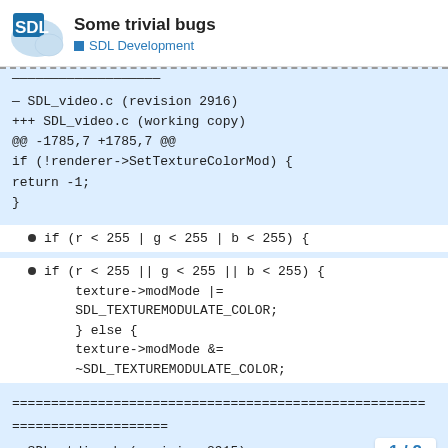Some trivial bugs — SDL Development
— SDL_video.c (revision 2916)
+++ SDL_video.c (working copy)
@@ -1785,7 +1785,7 @@
if (!renderer->SetTextureColorMod) {
return -1;
}
if (r < 255 | g < 255 | b < 255) {
if (r < 255 || g < 255 || b < 255) {
    texture->modMode |=
    SDL_TEXTUREMODULATE_COLOR;
    } else {
    texture->modMode &=
    ~SDL_TEXTUREMODULATE_COLOR;
=====================================================
====================
— SDL_stdinc.h (revision 2915)
1 / 2